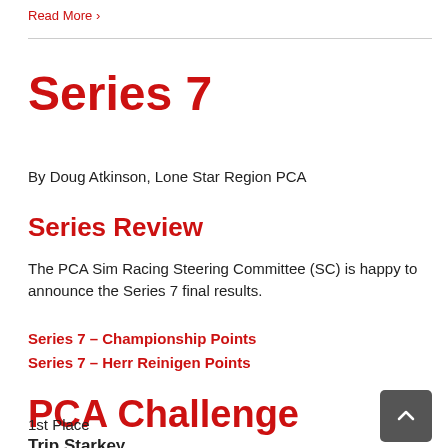Read More >
Series 7
By Doug Atkinson, Lone Star Region PCA
Series Review
The PCA Sim Racing Steering Committee (SC) is happy to announce the Series 7 final results.
Series 7 – Championship Points
Series 7 – Herr Reinigen Points
PCA Challenge
1st Place
Trip Starkey